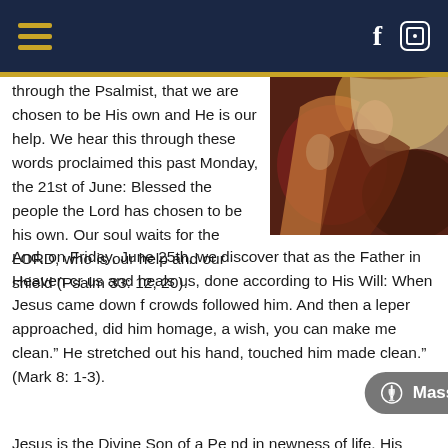Navigation bar with hamburger menu, Facebook and Instagram icons
through the Psalmist, that we are chosen to be His own and He is our help. We hear this through these words proclaimed this past Monday, the 21st of June: Blessed the people the Lord has chosen to be his own. Our soul waits for the LORD, who is our help and our shield (Psalm 33: 12, 20).
[Figure (photo): Religious painting showing figures in robes, likely a biblical scene with red and gold tones]
And, on Friday, June 25th, we discover that as the Father in Heaven chooses us and heals us, done according to His Will: When Jesus came down from the mountain, crowds followed him. And then a leper approached, did him homage, and said, "Lord, if you wish, you can make me clean." He stretched out his hand, touched him, and said "I will do it; be made clean." (Mark 8: 1-3).
Jesus is the Divine Son of a Person and in newness of life. His healing ones t
Mass Times & Directions